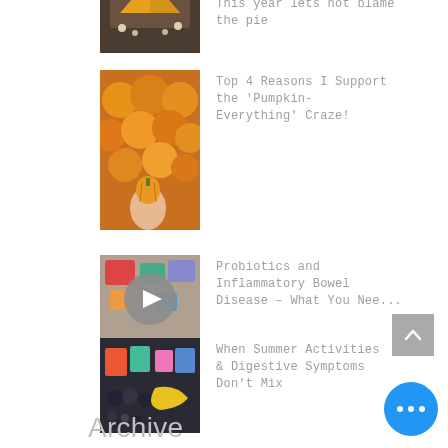[Figure (photo): Partially visible thumbnail of pie/dessert on wooden board with candles]
This year lets not blame the pie
[Figure (photo): Many orange pumpkins, a hand holding a small pumpkin]
Top 4 Reasons I Support the 'Pumpkin-Everything' Craze!
[Figure (photo): Video thumbnail with play button overlay showing colorful food items]
Probiotics and Inflammatory Bowel Disease – What You Nee...
[Figure (photo): Colorful fruits and vegetables on dark background]
When Summer Activities & Digestive Symptoms Don't Mix
Archive